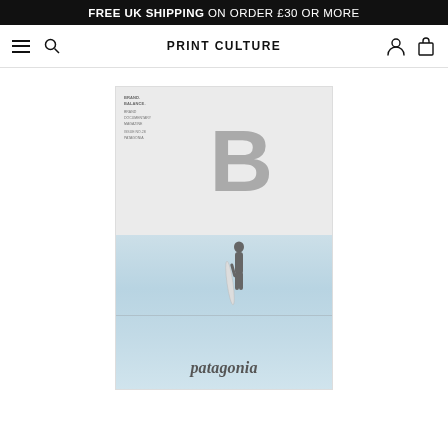FREE UK SHIPPING ON ORDER £30 OR MORE
PRINT CULTURE
[Figure (photo): Magazine cover of Brand Documentary Magazine Issue No.28 featuring Patagonia. Top half shows large grey letter B on grey background with small text reading BRAND. BALANCE. BRAND DOCUMENTARY MAGAZINE ISSUE NO.28 PATAGONIA. Bottom half shows a surfer standing in shallow water holding a surfboard with the word patagonia in italic serif font at the bottom.]